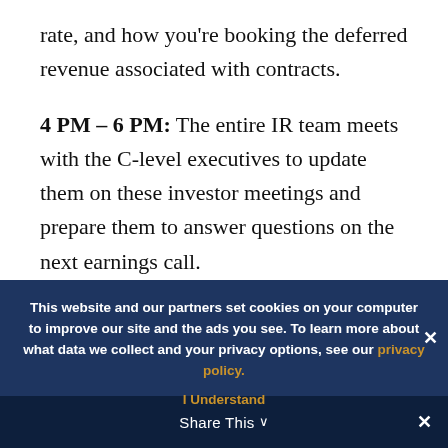rate, and how you're booking the deferred revenue associated with contracts.
4 PM – 6 PM: The entire IR team meets with the C-level executives to update them on these investor meetings and prepare them to answer questions on the next earnings call.
6 PM – 7 PM: Respond to some emails you
This website and our partners set cookies on your computer to improve our site and the ads you see. To learn more about what data we collect and your privacy options, see our privacy policy.
I Understand
Share This ∨
✕